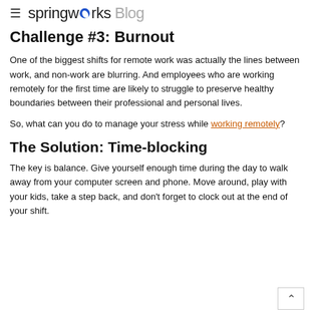springworks Blog
Challenge #3: Burnout
One of the biggest shifts for remote work was actually the lines between work, and non-work are blurring. And employees who are working remotely for the first time are likely to struggle to preserve healthy boundaries between their professional and personal lives.
So, what can you do to manage your stress while working remotely?
The Solution: Time-blocking
The key is balance. Give yourself enough time during the day to walk away from your computer screen and phone. Move around, play with your kids, take a step back, and don't forget to clock out at the end of your shift.